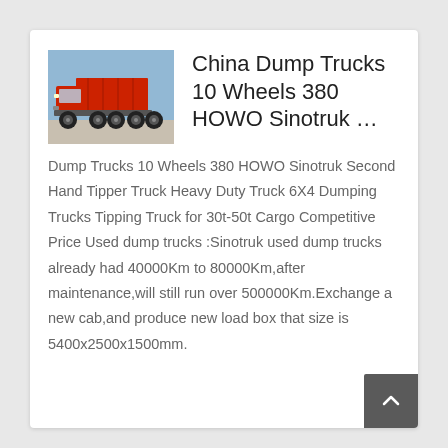[Figure (photo): Photo of a red HOWO Sinotruk dump truck (tipper truck) with 10 wheels, parked outdoors under a blue sky, viewed from the front-left side angle]
China Dump Trucks 10 Wheels 380 HOWO Sinotruk …
Dump Trucks 10 Wheels 380 HOWO Sinotruk Second Hand Tipper Truck Heavy Duty Truck 6X4 Dumping Trucks Tipping Truck for 30t-50t Cargo Competitive Price Used dump trucks :Sinotruk used dump trucks already had 40000Km to 80000Km,after maintenance,will still run over 500000Km.Exchange a new cab,and produce new load box that size is 5400x2500x1500mm.